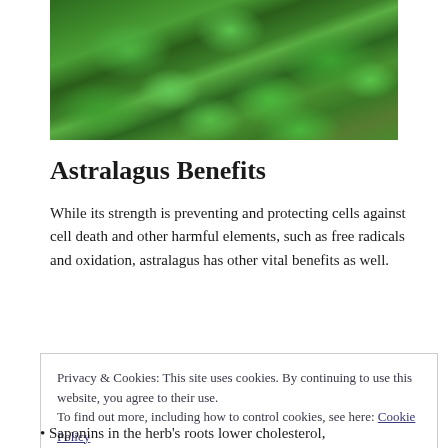[Figure (photo): Close-up photograph of green leafy plant (Astragalus) with dense foliage]
Astralagus Benefits
While its strength is preventing and protecting cells against cell death and other harmful elements, such as free radicals and oxidation, astralagus has other vital benefits as well.
Privacy & Cookies: This site uses cookies. By continuing to use this website, you agree to their use.
To find out more, including how to control cookies, see here: Cookie Policy
Saponins in the herb's roots lower cholesterol,